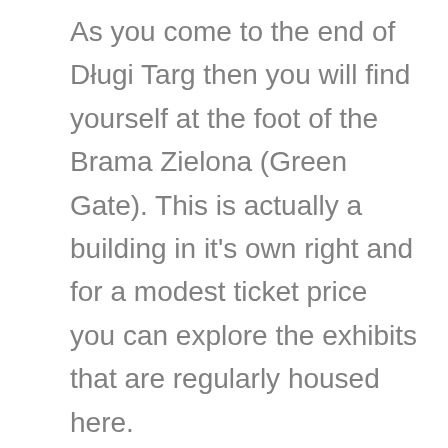As you come to the end of Długi Targ then you will find yourself at the foot of the Brama Zielona (Green Gate). This is actually a building in it's own right and for a modest ticket price you can explore the exhibits that are regularly housed here.
Once you walk through this